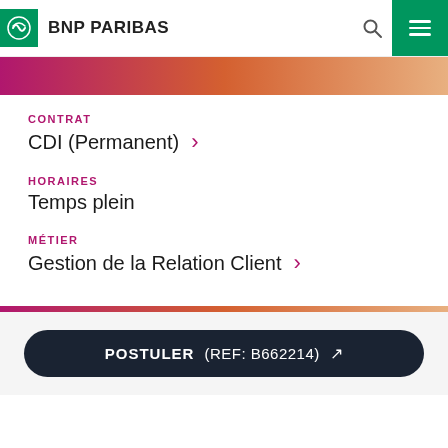BNP PARIBAS
[Figure (other): Gradient banner strip from pink/magenta on left to peach/orange on right]
CONTRAT
CDI (Permanent)
HORAIRES
Temps plein
MÉTIER
Gestion de la Relation Client
POSTULER (REF: B662214) ↗